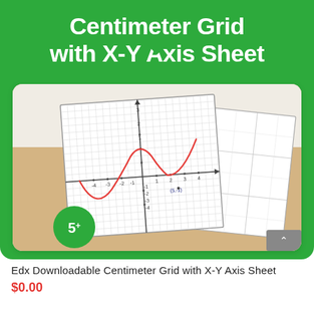Centimeter Grid with X-Y Axis Sheet
[Figure (photo): Photo of centimeter grid paper sheets with X-Y axis drawn and a red sine curve plotted. An age badge showing '5+' is visible in the lower left corner. A scroll button appears in the lower right.]
Edx Downloadable Centimeter Grid with X-Y Axis Sheet
$0.00